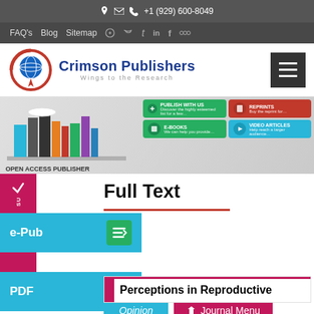+1 (929) 600-8049
FAQ's  Blog  Sitemap
[Figure (logo): Crimson Publishers logo with globe icon and tagline 'Wings to the Research']
[Figure (infographic): Open Access Publisher banner showing books and service options: Publish With Us, Reprints, E-Books, Video Articles]
Full Text
e-Pub
PDF
Opinion
Journal Menu
Perceptions in Reproductive